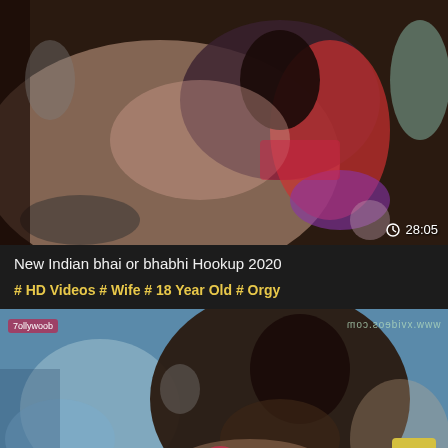[Figure (screenshot): Video thumbnail showing people on a bed with timestamp 28:05 in bottom right corner]
New Indian bhai or bhabhi Hookup 2020
#HD Videos #Wife #18 Year Old #Orgy
[Figure (screenshot): Video thumbnail showing a woman lying on a blue polka dot pillow, with watermarks including www.xvideos.com and a logo in top left, and a scroll-to-top button in bottom right]